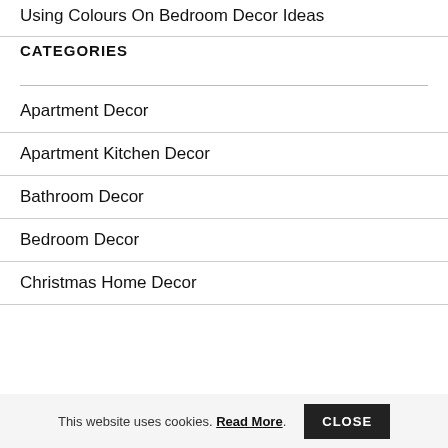Using Colours On Bedroom Decor Ideas
CATEGORIES
Apartment Decor
Apartment Kitchen Decor
Bathroom Decor
Bedroom Decor
Christmas Home Decor
This website uses cookies. Read More . CLOSE